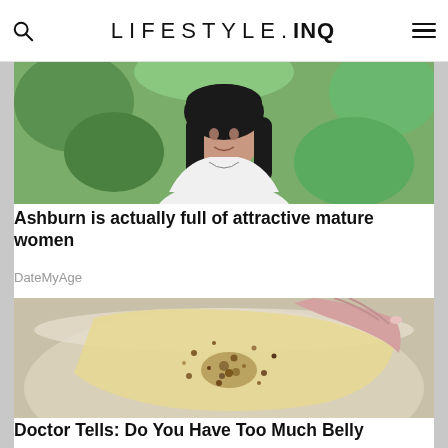LIFESTYLE.INQ
[Figure (photo): Photo of a woman with dark hair, green leafy background]
Ashburn is actually full of attractive mature women
DateMyAge
[Figure (photo): Close-up photo of a hand holding a clear/gold-glittery substance, possibly a soap or gel product]
Doctor Tells: Do You Have Too Much Belly